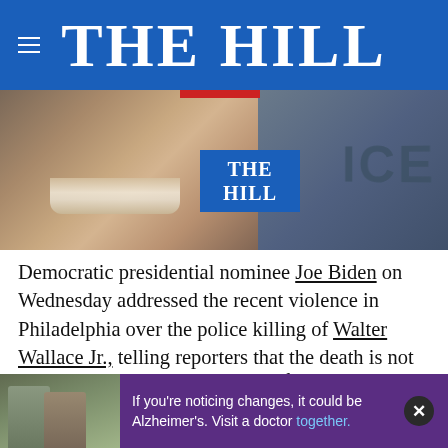THE HILL
[Figure (photo): Composite image showing Joe Biden speaking (close-up of face/mouth) on the left and a person holding an ICE sign on the right, with The Hill logo badge overlaid in center]
Democratic presidential nominee Joe Biden on Wednesday addressed the recent violence in Philadelphia over the police killing of Walter Wallace Jr., telling reporters that the death is not an excuse for looting or criminal activity.
“There is no excuse whatsoever for the looting and the violence. None whatsoever,” Biden said outside his home in Wilmington, Del., where he voted moments before
If you're noticing changes, it could be Alzheimer's. Visit a doctor together.